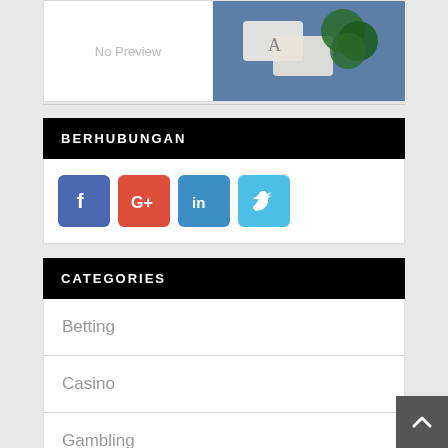[Figure (photo): Left: white box with 'No Preview' text. Right: photo of poker chips and playing cards on blue felt table.]
BERHUBUNGAN
[Figure (infographic): Social media icons: Facebook (blue), Google+ (red-orange), LinkedIn (blue), Twitter (light blue)]
CATEGORIES
Betting
Casino
Gambling